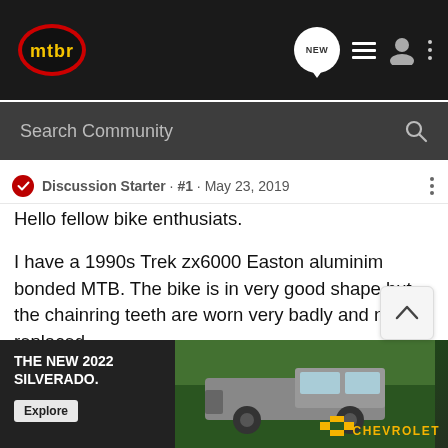mtbr - Navigation bar with NEW, list, user, and menu icons
Search Community
Discussion Starter · #1 · May 23, 2019
Hello fellow bike enthusiats.
I have a 1990s Trek zx6000 Easton aluminim bonded MTB. The bike is in very good shape but the chainring teeth are worn very badly and need replaced.
The current crankset is a Sugino Impel 175mm connecting to a square taper BB. The rings are 42-34-24. This of course is a 8 speed.
Now my problem. The only crankset I can find that appears to match a...ch I can find in 1...
[Figure (screenshot): Advertisement banner for THE NEW 2022 SILVERADO. with Explore button and Chevrolet logo, truck visible in background]